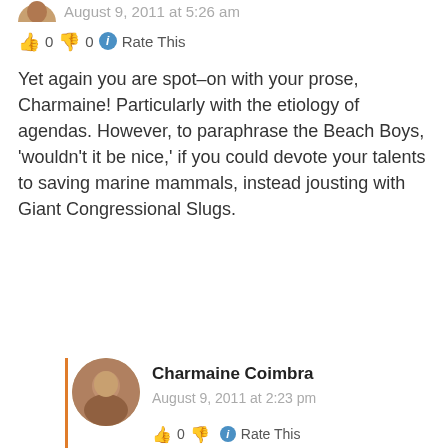August 9, 2011 at 5:26 am
👍 0 👎 0 ℹ Rate This
Yet again you are spot–on with your prose, Charmaine! Particularly with the etiology of agendas. However, to paraphrase the Beach Boys, 'wouldn't it be nice,' if you could devote your talents to saving marine mammals, instead jousting with Giant Congressional Slugs.
Reply
Charmaine Coimbra
August 9, 2011 at 2:23 pm
👍 0 👎 0 ℹ Rate This